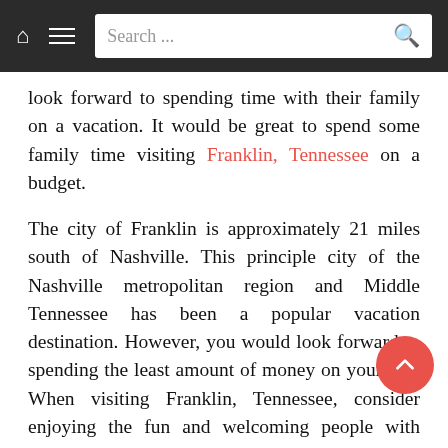Search ...
look forward to spending time with their family on a vacation. It would be great to spend some family time visiting Franklin, Tennessee on a budget.
The city of Franklin is approximately 21 miles south of Nashville. This principle city of the Nashville metropolitan region and Middle Tennessee has been a popular vacation destination. However, you would look forward to spending the least amount of money on your trip. When visiting Franklin, Tennessee, consider enjoying the fun and welcoming people with great places to visit. The places to visit are unique to their community. They offer a balance between the natural and built environments. As a result, you would enjoy every minute spent in the city.
How to visit Franklin, Tennessee on a budget